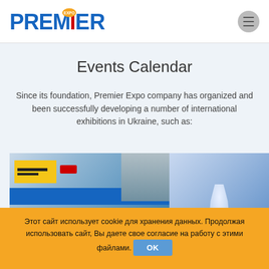[Figure (logo): Premier Expo logo — bold blue text PREMIER with orange EXPO badge, red accent on M letter]
[Figure (illustration): Hamburger / menu icon button in a grey circle]
Events Calendar
Since its foundation, Premier Expo company has organized and been successfully developing a number of international exhibitions in Ukraine, such as:
[Figure (photo): Exhibition hall interior with yellow banner, TUI logo, blue display area and stage truss structure; right panel shows a dancer or figure silhouette against blue background]
Этот сайт использует cookie для хранения данных. Продолжая использовать сайт, Вы даете свое согласие на работу с этими файлами.